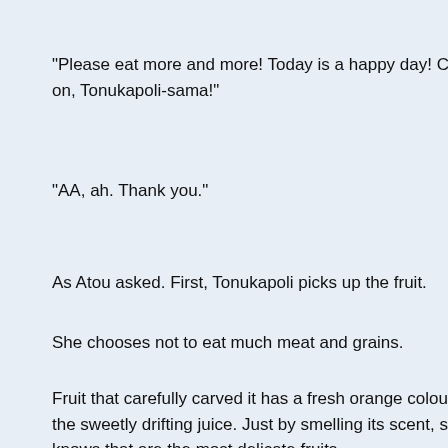"Please eat more and more! Today is a happy day! Come on, Tonukapoli-sama!"
"AA, ah. Thank you."
As Atou asked. First, Tonukapoli picks up the fruit.
She chooses not to eat much meat and grains.
Fruit that carefully carved it has a fresh orange colour, and the sweetly drifting juice. Just by smelling its scent, she knows that are the most delicate fruits.